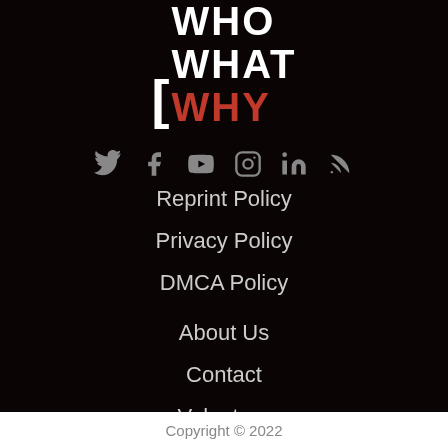[Figure (logo): WhoWhatWhy logo with bracket on left, WHO and WHAT in white bold text, WHY in red bold text]
[Figure (infographic): Social media icons row: Twitter, Facebook, YouTube, Instagram, LinkedIn, RSS feed — all in gray]
Reprint Policy
Privacy Policy
DMCA Policy
About Us
Contact
Volunteer
Copyright © 2022